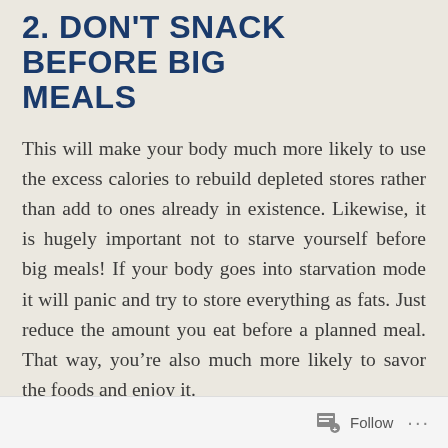2. DON'T SNACK BEFORE BIG MEALS
This will make your body much more likely to use the excess calories to rebuild depleted stores rather than add to ones already in existence. Likewise, it is hugely important not to starve yourself before big meals! If your body goes into starvation mode it will panic and try to store everything as fats. Just reduce the amount you eat before a planned meal. That way, you’re also much more likely to savor the foods and enjoy it.
3. WORKOUT BEFORE THESE BIG MEALS
Follow